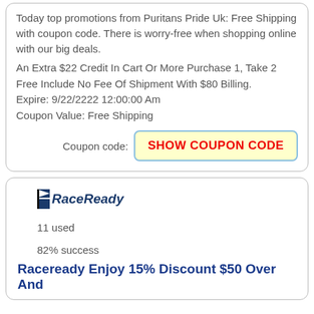Today top promotions from Puritans Pride Uk: Free Shipping with coupon code. There is worry-free when shopping online with our big deals.
An Extra $22 Credit In Cart Or More Purchase 1, Take 2 Free Include No Fee Of Shipment With $80 Billing.
Expire: 9/22/2222 12:00:00 Am
Coupon Value: Free Shipping
Coupon code: SHOW COUPON CODE
[Figure (logo): RaceReady logo with flag icon and italic bold text]
11 used
82% success
Raceready Enjoy 15% Discount $50 Over And